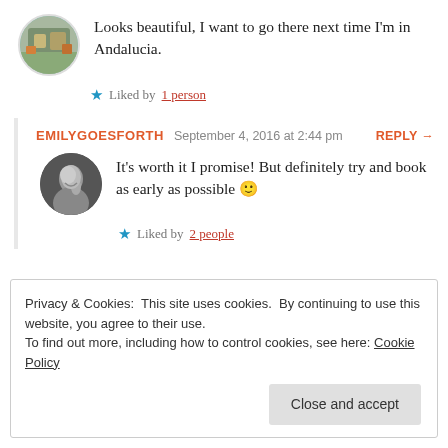Looks beautiful, I want to go there next time I'm in Andalucia.
Liked by 1 person
EMILYGOESFORTH  September 4, 2016 at 2:44 pm  REPLY →
It's worth it I promise! But definitely try and book as early as possible 🙂
Liked by 2 people
Privacy & Cookies: This site uses cookies. By continuing to use this website, you agree to their use.
To find out more, including how to control cookies, see here: Cookie Policy